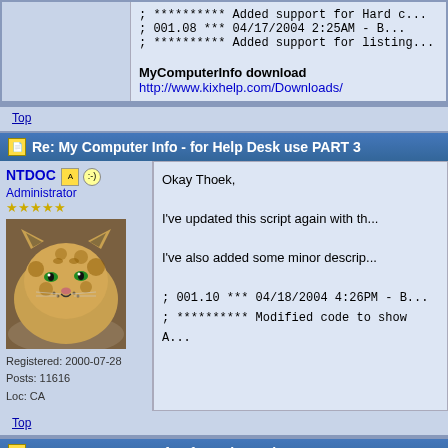; ********** Added support for Hard d...
; 001.08 *** 04/17/2004 2:25AM - B...
; ********** Added support for listing...
MyComputerInfo download
http://www.kixhelp.com/Downloads/
Top
Re: My Computer Info - for Help Desk use PART 3
NTDOC
Administrator
[Figure (photo): Avatar photo of a leopard/cheetah resting, close-up face shot]
Registered: 2000-07-28
Posts: 11616
Loc: CA
Okay Thoek,

I've updated this script again with th...

I've also added some minor descrip...

; 001.10 *** 04/18/2004 4:26PM - B...
; ********** Modified code to show A...
Top
Re: My Computer Info - for Help Desk use PART 3
Trackz
Fresh Scripter
Registered: 2004-03-18
Posts: 37
Loc: Rotterdam, The
Thanx. Works fine for me..

Maybe change this section from:

Code: